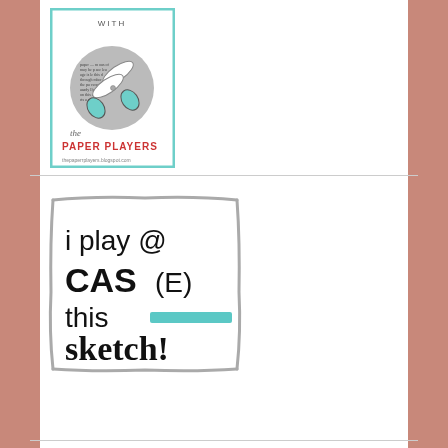[Figure (logo): The Paper Players blog badge with scissors icon on a circular gray background and text reading 'the PAPER PLAYERS thepaperrplayers.blogspot.com' with teal border frame]
[Figure (logo): Badge with hand-drawn gray border frame containing text: 'i play @ CAS(E) this [teal strikethrough line] sketch!' in mixed bold and regular black sans-serif fonts]